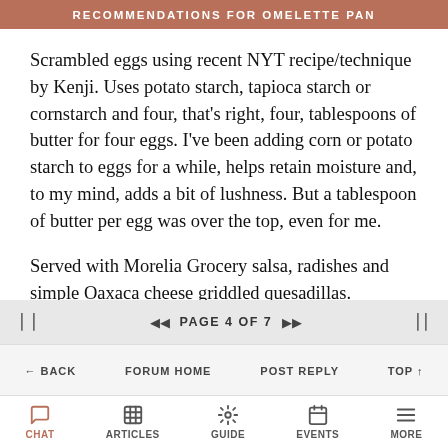RECOMMENDATIONS FOR OMELETTE PAN
Scrambled eggs using recent NYT recipe/technique by Kenji. Uses potato starch, tapioca starch or cornstarch and four, that's right, four, tablespoons of butter for four eggs. I've been adding corn or potato starch to eggs for a while, helps retain moisture and, to my mind, adds a bit of lushness. But a tablespoon of butter per egg was over the top, even for me.
Served with Morelia Grocery salsa, radishes and simple Oaxaca cheese griddled quesadillas.
Note: Video recipe on Kenji's cooking Youtube
PAGE 4 OF 7
BACK   FORUM HOME   POST REPLY   TOP
CHAT   ARTICLES   GUIDE   EVENTS   MORE